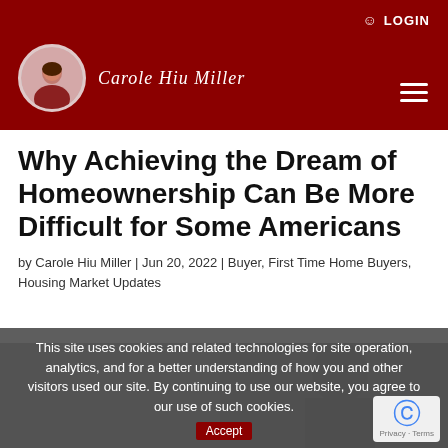LOGIN
[Figure (logo): Carole Hiu Miller real estate agent logo with circular avatar photo and cursive name text on dark red header background]
Why Achieving the Dream of Homeownership Can Be More Difficult for Some Americans
by Carole Hiu Miller | Jun 20, 2022 | Buyer, First Time Home Buyers, Housing Market Updates
This site uses cookies and related technologies for site operation, analytics, and for a better understanding of how you and other visitors used our site. By continuing to use our website, you agree to our use of such cookies.
[Figure (photo): Photo of a woman looking upward, partially visible at bottom of page]